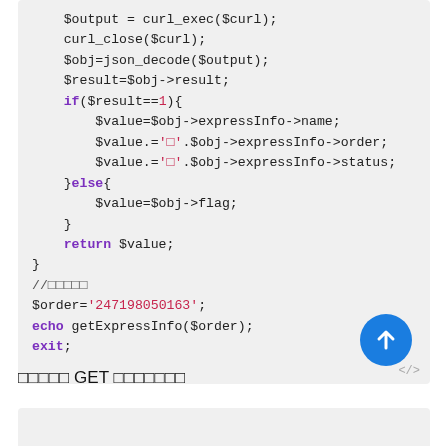[Figure (screenshot): PHP code block showing curl execution, JSON decode, result check, and express info retrieval with syntax highlighting]
□□□□□ GET □□□□□□□
[Figure (screenshot): Beginning of another code block at the bottom of the page]